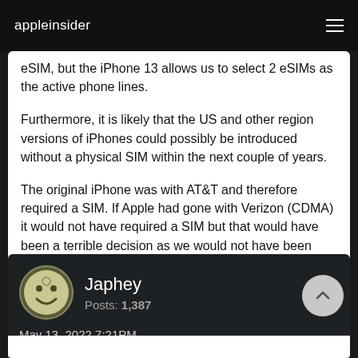appleinsider
eSIM, but the iPhone 13 allows us to select 2 eSIMs as the active phone lines.
Furthermore, it is likely that the US and other region versions of iPhones could possibly be introduced without a physical SIM within the next couple of years.
The original iPhone was with AT&T and therefore required a SIM. If Apple had gone with Verizon (CDMA) it would not have required a SIM but that would have been a terrible decision as we would not have been able to roam in other countries or even parts of the US.
Japhey
Posts: 1,387
May 13, 2022 7:21PM